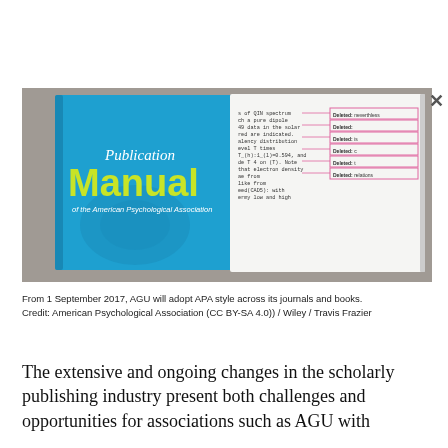[Figure (photo): Photo of the APA Publication Manual book cover (blue with green 'Manual' text) placed on a concrete surface alongside an open book page showing tracked changes with pink revision marks. An X close button appears at the top right.]
From 1 September 2017, AGU will adopt APA style across its journals and books. Credit: American Psychological Association (CC BY-SA 4.0)) / Wiley / Travis Frazier
The extensive and ongoing changes in the scholarly publishing industry present both challenges and opportunities for associations such as AGU with